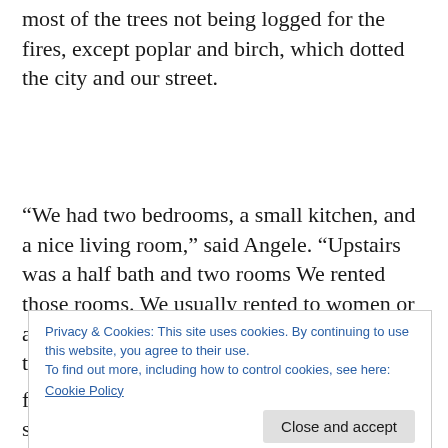most of the trees not being logged for the fires, except poplar and birch, which dotted the city and our street.
“We had two bedrooms, a small kitchen, and a nice living room,” said Angele. “Upstairs was a half bath and two rooms We rented those rooms. We usually rented to women or a couple who were new to Sudbury. Where they took a bath, I don’t know. We
Privacy & Cookies: This site uses cookies. By continuing to use this website, you agree to their use.
To find out more, including how to control cookies, see here:
Cookie Policy
Close and accept
from Germany, they rented a room for several years.